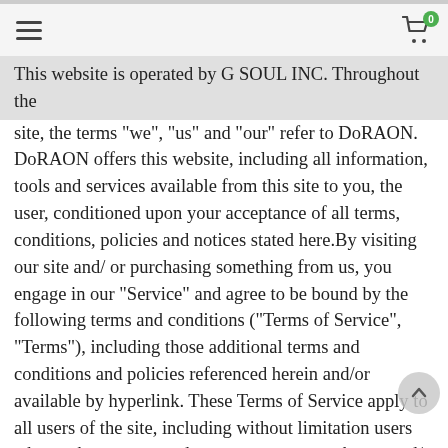This website is operated by G SOUL INC. Throughout the site, the terms “we”, “us” and “our” refer to DoRAON. DoRAON offers this website, including all information, tools and services available from this site to you, the user, conditioned upon your acceptance of all terms, conditions, policies and notices stated here.By visiting our site and/ or purchasing something from us, you engage in our “Service” and agree to be bound by the following terms and conditions (“Terms of Service”, “Terms”), including those additional terms and conditions and policies referenced herein and/or available by hyperlink. These Terms of Service apply to all users of the site, including without limitation users who are browsers, vendors, customers, merchants, and/ or contributors of content.Please read these Terms of Service carefully before accessing or using our website. By accessing or using any part of the site, you agree to be bound by these